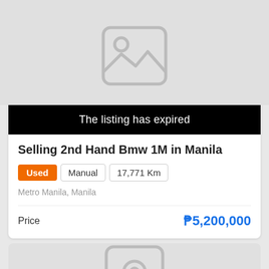[Figure (other): Image placeholder icon with grey background showing a picture/photo icon outline]
The listing has expired
Selling 2nd Hand Bmw 1M in Manila
Used | Manual | 17,771 Km
Metro Manila, Manila
| Price |  |
| --- | --- |
| Price | ₱5,200,000 |
[Figure (other): Partial image placeholder at bottom of page with grey background]